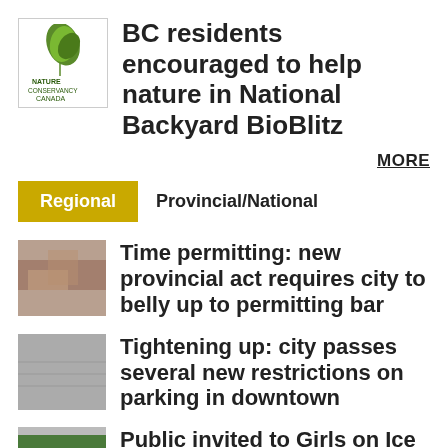[Figure (logo): Nature Canada logo with green leaf icon and text 'NATURE CANADA']
BC residents encouraged to help nature in National Backyard BioBlitz
MORE
Regional   Provincial/National
[Figure (photo): Close-up photo of hands or similar subject related to permitting]
Time permitting: new provincial act requires city to belly up to permitting bar
[Figure (photo): Photo of parking lot or road surface]
Tightening up: city passes several new restrictions on parking in downtown
[Figure (photo): Photo of group of people outdoors, Girls on Ice event]
Public invited to Girls on Ice Science presentation